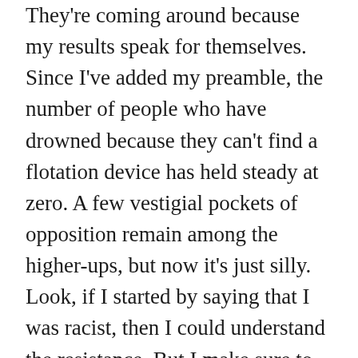They're coming around because my results speak for themselves. Since I've added my preamble, the number of people who have drowned because they can't find a flotation device has held steady at zero. A few vestigial pockets of opposition remain among the higher-ups, but now it's just silly. Look, if I started by saying that I was racist, then I could understand the resistance. But I make sure to emphasize that I'm not racist. That's good, right? Who wants a racist flight attendant? Not me, that's for sure.
Do all the passengers appreciate my efforts on their behalf? No, like I said, people are crazy.